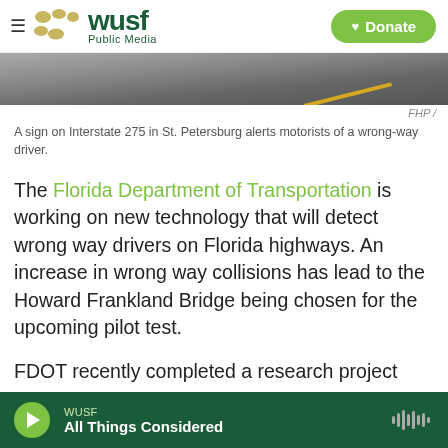WUSF Public Media — Donate
[Figure (photo): Road surface photo showing pavement, likely Interstate 275 in St. Petersburg, with a yellow stripe visible]
FHP /
A sign on Interstate 275 in St. Petersburg alerts motorists of a wrong-way driver.
The Florida Department of Transportation is working on new technology that will detect wrong way drivers on Florida highways. An increase in wrong way collisions has lead to the Howard Frankland Bridge being chosen for the upcoming pilot test.
FDOT recently completed a research project
WUSF — All Things Considered